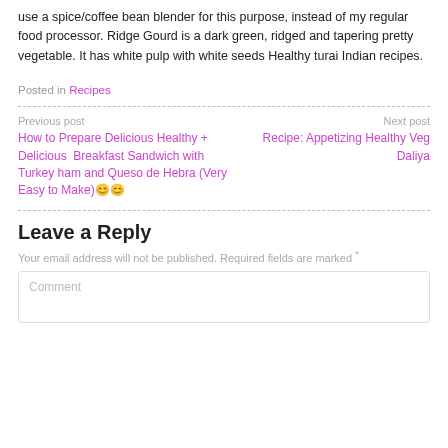use a spice/coffee bean blender for this purpose, instead of my regular food processor. Ridge Gourd is a dark green, ridged and tapering pretty vegetable. It has white pulp with white seeds Healthy turai Indian recipes.
Posted in Recipes
Previous post
How to Prepare Delicious Healthy + Delicious  Breakfast Sandwich with Turkey ham and Queso de Hebra (Very Easy to Make)😊😊
Next post
Recipe: Appetizing Healthy Veg Daliya
Leave a Reply
Your email address will not be published. Required fields are marked *
Comment